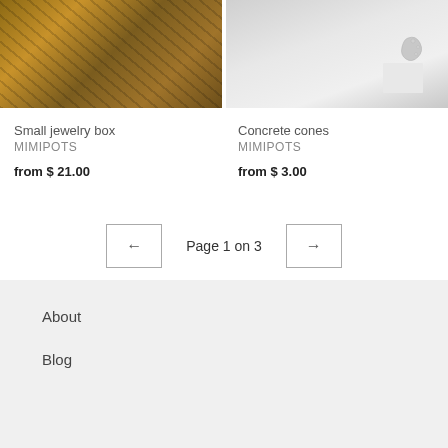[Figure (photo): Close-up photo of wooden jewelry box with circular wood grain texture, warm brown tones]
[Figure (photo): Photo of silver/metallic jewelry piece (appears to be a number or letter shape) on a white geometric pedestal]
Small jewelry box
MIMIPOTS
from $ 21.00
Concrete cones
MIMIPOTS
from $ 3.00
← Page 1 on 3 →
About
Blog